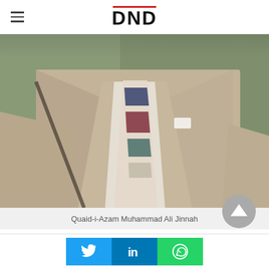DND
[Figure (photo): Close-up photograph of Quaid-i-Azam Muhammad Ali Jinnah wearing a beige/tan tweed suit with a striped tie, shown from chest level, with a blurred green background.]
Quaid-i-Azam Muhammad Ali Jinnah